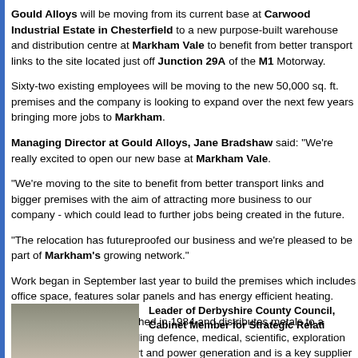Gould Alloys will be moving from its current base at Carwood Industrial Estate in Chesterfield to a new purpose-built warehouse and distribution centre at Markham Vale to benefit from better transport links to the site located just off Junction 29A of the M1 Motorway.
Sixty-two existing employees will be moving to the new 50,000 sq. ft. premises and the company is looking to expand over the next few years bringing more jobs to Markham.
Managing Director at Gould Alloys, Jane Bradshaw said: "We're really excited to open our new base at Markham Vale.
"We're moving to the site to benefit from better transport links and bigger premises with the aim of attracting more business to our company - which could lead to further jobs being created in the future.
"The relocation has futureproofed our business and we're pleased to be part of Markham's growing network."
Work began in September last year to build the premises which includes office space, features solar panels and has energy efficient heating.
The company was established in 1984 and distributes metals to a number of industries including defence, medical, scientific, exploration and production, motor sport and power generation and is a key supplier to the aerospace industry where it delivers 'first stage' machining.
[Figure (photo): Photo of a person (partially visible at bottom of page)]
Leader of Derbyshire County Council, Cabinet Member for Strategic Relationships